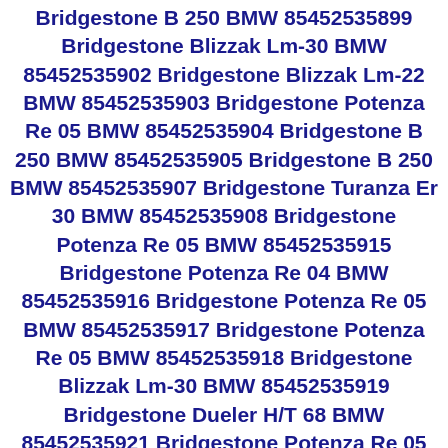Bridgestone B 250 BMW 85452535899 Bridgestone Blizzak Lm-30 BMW 85452535902 Bridgestone Blizzak Lm-22 BMW 85452535903 Bridgestone Potenza Re 05 BMW 85452535904 Bridgestone B 250 BMW 85452535905 Bridgestone B 250 BMW 85452535907 Bridgestone Turanza Er 30 BMW 85452535908 Bridgestone Potenza Re 05 BMW 85452535915 Bridgestone Potenza Re 04 BMW 85452535916 Bridgestone Potenza Re 05 BMW 85452535917 Bridgestone Potenza Re 05 BMW 85452535918 Bridgestone Blizzak Lm-30 BMW 85452535919 Bridgestone Dueler H/T 68 BMW 85452535921 Bridgestone Potenza Re 05 BMW 85452535922 Bridgestone Potenza Re 05 BMW 85452535923 Bridgestone Potenza Re 05 BMW 85452535925 Bridgestone Potenza Re 05